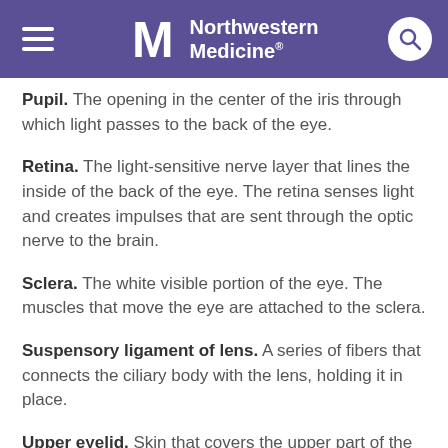Northwestern Medicine
Pupil. The opening in the center of the iris through which light passes to the back of the eye.
Retina. The light-sensitive nerve layer that lines the inside of the back of the eye. The retina senses light and creates impulses that are sent through the optic nerve to the brain.
Sclera. The white visible portion of the eye. The muscles that move the eye are attached to the sclera.
Suspensory ligament of lens. A series of fibers that connects the ciliary body with the lens, holding it in place.
Upper eyelid. Skin that covers the upper part of the eye, including the cornea, when closed.